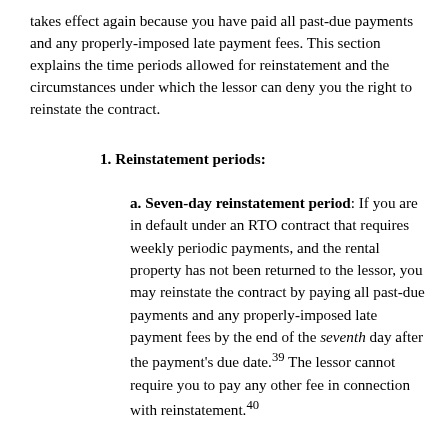takes effect again because you have paid all past-due payments and any properly-imposed late payment fees. This section explains the time periods allowed for reinstatement and the circumstances under which the lessor can deny you the right to reinstate the contract.
1. Reinstatement periods:
a. Seven-day reinstatement period: If you are in default under an RTO contract that requires weekly periodic payments, and the rental property has not been returned to the lessor, you may reinstate the contract by paying all past-due payments and any properly-imposed late payment fees by the end of the seventh day after the payment's due date.39 The lessor cannot require you to pay any other fee in connection with reinstatement.40